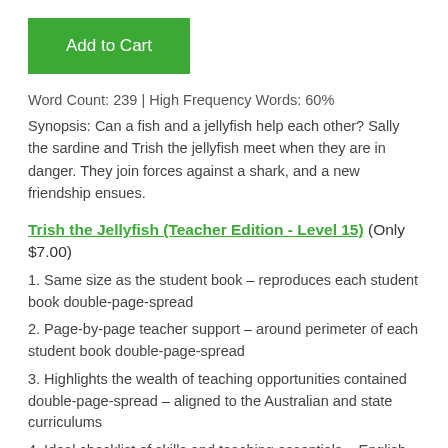[Figure (other): Green 'Add to Cart' button]
Word Count: 239 | High Frequency Words: 60%
Synopsis: Can a fish and a jellyfish help each other? Sally the sardine and Trish the jellyfish meet when they are in danger. They join forces against a shark, and a new friendship ensues.
Trish the Jellyfish (Teacher Edition - Level 15) (Only $7.00)
1. Same size as the student book – reproduces each student book double-page-spread
2. Page-by-page teacher support – around perimeter of each student book double-page-spread
3. Highlights the wealth of teaching opportunities contained double-page-spread – aligned to the Australian and state curriculums
4. Ideal checklist of skills and teaching essentials – English language/literacy, related curriculum content areas and more.
Teacher Edition features:
• Pre-reading questions – e.g. glossary-in-context and inquiry